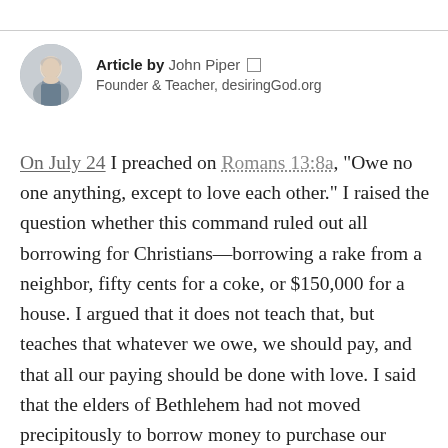[Figure (photo): Circular avatar photo of John Piper, an older man with white hair wearing a suit jacket]
Article by John Piper [external link icon]
Founder & Teacher, desiringGod.org
On July 24 I preached on Romans 13:8a, "Owe no one anything, except to love each other." I raised the question whether this command ruled out all borrowing for Christians—borrowing a rake from a neighbor, fifty cents for a coke, or $150,000 for a house. I argued that it does not teach that, but teaches that whatever we owe, we should pay, and that all our paying should be done with love. I said that the elders of Bethlehem had not moved precipitously to borrow money to purchase our